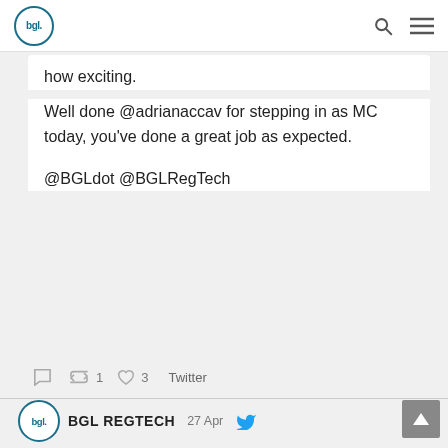[Figure (logo): BGL logo in top navigation bar]
how exciting.
Well done @adrianaccav for stepping in as MC today, you've done a great job as expected.

@BGLdot @BGLRegTech
reply 1 retweet 1 like 3 Twitter
[Figure (logo): BGL RegTech logo for second tweet]
BGL REGTECH 27 Apr
Ron talking all things @bgldot at #BGLREGTECH #Brisbane! [image icon]
reply retweet 1 like 4 Twitter